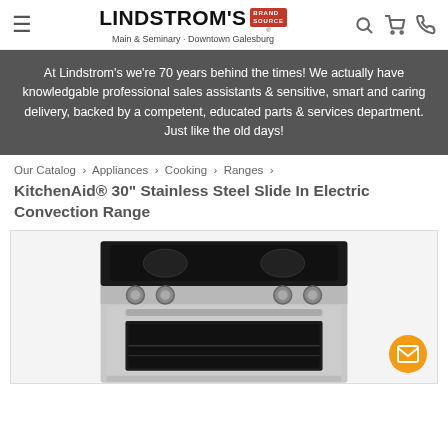LINDSTROM'S Brand Source | Main & Seminary - Downtown Galesburg
At Lindstrom's we're 70 years behind the times! We actually have knowledgable professional sales assistants & sensitive, smart and caring delivery, backed by a competent, educated parts & services department. Just like the old days!
Our Catalog › Appliances › Cooking › Ranges ›
KitchenAid® 30" Stainless Steel Slide In Electric Convection Range
[Figure (photo): KitchenAid stainless steel slide-in electric convection range showing black glass cooktop, four control knobs, and oven with glass window door]